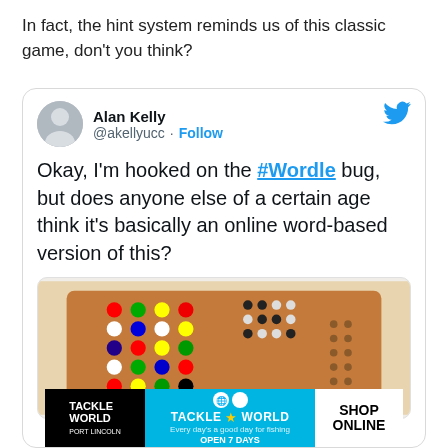In fact, the hint system reminds us of this classic game, don't you think?
[Figure (screenshot): A tweet from Alan Kelly (@akellyucc) with a Follow button and Twitter bird icon. Tweet text reads: 'Okay, I'm hooked on the #Wordle bug, but does anyone else of a certain age think it's basically an online word-based version of this?' Below the tweet text is an image of a Mastermind board game with coloured pegs. At the bottom is a Tackle World advertisement banner with 'SHOP ONLINE' on the right.]